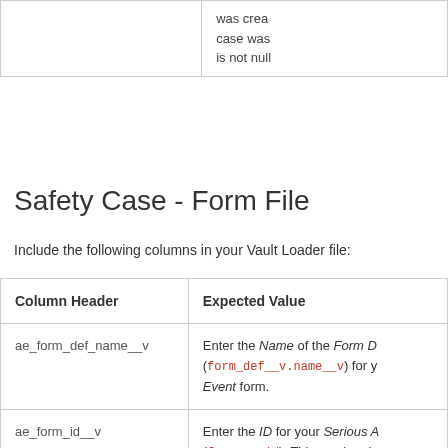|  |  |
| --- | --- |
|  | was created. case was is not null |
Safety Case - Form File
Include the following columns in your Vault Loader file:
| Column Header | Expected Value |
| --- | --- |
| ae_form_def_name__v | Enter the Name of the Form D (form_def__v.name__v) for your Event form. |
| ae_form_id__v | Enter the ID for your Serious A (form__v.id). This can be obtained Business Admin > Forms. |
| ae_form_seq_num__v | Enter the Sequence Number ( |